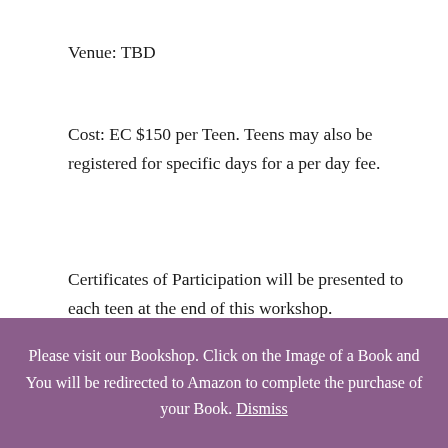Venue: TBD
Cost: EC $150 per Teen. Teens may also be registered for specific days for a per day fee.
Certificates of Participation will be presented to each teen at the end of this workshop.
Parents are also welcome to contribute or
Please visit our Bookshop. Click on the Image of a Book and You will be redirected to Amazon to complete the purchase of your Book. Dismiss